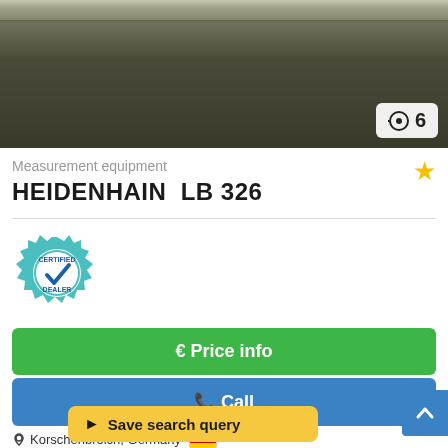[Figure (photo): Close-up photo of a HEIDENHAIN LB 326 measurement equipment rail/scale, showing a metallic linear encoder with dusty/worn surface texture.]
Measurement equipment
HEIDENHAIN  LB 326
[Figure (logo): Certified Dealer badge — circular gear-shaped teal badge with a checkmark and text 'CERTIFIED DEALER']
€ Price info
Call
Korschenbroich, Germany
(dealership lo…
6373 km
Save search query